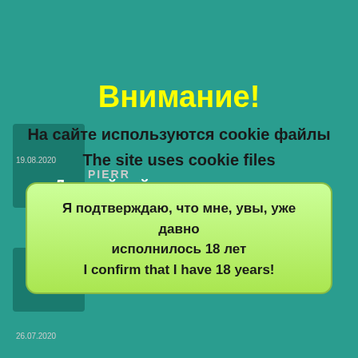Внимание!
На сайте используются cookie файлы
The site uses cookie files
Данный сайт имеет возрастное ограничение!
This site has age restrictions!
Я подтверждаю, что мне, увы, уже давно исполнилось 18 лет
I confirm that I have 18 years!